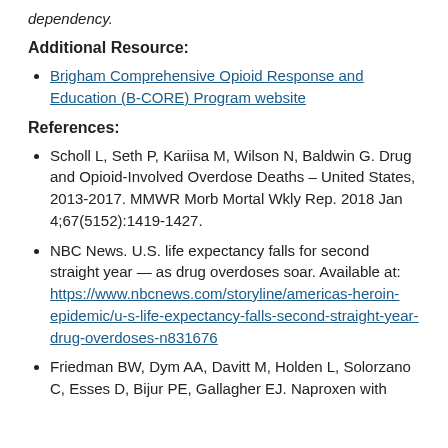dependency.
Additional Resource:
Brigham Comprehensive Opioid Response and Education (B-CORE) Program website
References:
Scholl L, Seth P, Kariisa M, Wilson N, Baldwin G. Drug and Opioid-Involved Overdose Deaths – United States, 2013-2017. MMWR Morb Mortal Wkly Rep. 2018 Jan 4;67(5152):1419-1427.
NBC News. U.S. life expectancy falls for second straight year — as drug overdoses soar. Available at: https://www.nbcnews.com/storyline/americas-heroin-epidemic/u-s-life-expectancy-falls-second-straight-year-drug-overdoses-n831676
Friedman BW, Dym AA, Davitt M, Holden L, Solorzano C, Esses D, Bijur PE, Gallagher EJ. Naproxen with...